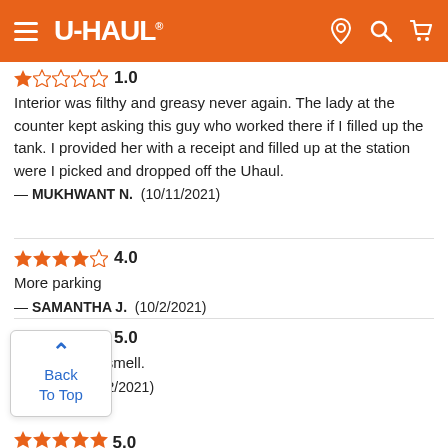U-HAUL® header with navigation
★☆☆☆☆ 1.0
Interior was filthy and greasy never again. The lady at the counter kept asking this guy who worked there if I filled up the tank. I provided her with a receipt and filled up at the station were I picked and dropped off the Uhaul.
— MUKHWANT N. (10/11/2021)
★★★★☆ 4.0
More parking
— SAMANTHA J. (10/2/2021)
★★★★★ 5.0
had a terrible smell.
—ELE M. (9/12/2021)
★★★★★ 5.0 (partial, bottom of page)